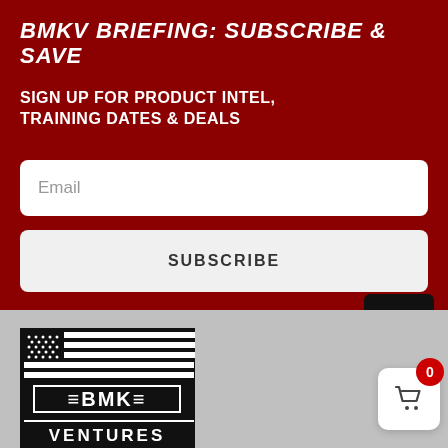BMKV BRIEFING: SUBSCRIBE & SAVE
SIGN UP FOR PRODUCT INTEL, TRAINING DATES & DEALS
[Figure (screenshot): Email input field with placeholder text 'Email' on white rounded rectangle background]
[Figure (screenshot): Subscribe button with text 'SUBSCRIBE' on light gray rounded rectangle background]
[Figure (logo): BMK Ventures logo with American flag motif, black and white, showing stars and stripes with text BMK VENTURES]